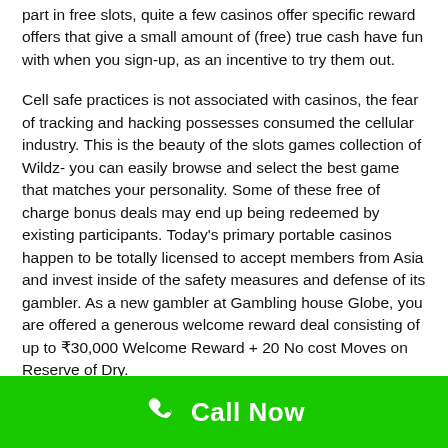part in free slots, quite a few casinos offer specific reward offers that give a small amount of (free) true cash have fun with when you sign-up, as an incentive to try them out.
Cell safe practices is not associated with casinos, the fear of tracking and hacking possesses consumed the cellular industry. This is the beauty of the slots games collection of Wildz- you can easily browse and select the best game that matches your personality. Some of these free of charge bonus deals may end up being redeemed by existing participants. Today's primary portable casinos happen to be totally licensed to accept members from Asia and invest inside of the safety measures and defense of its gambler. As a new gambler at Gambling house Globe, you are offered a generous welcome reward deal consisting of up to ₹30,000 Welcome Reward + 20 No cost Moves on Reserve of Dry.
[Figure (other): Green Call Now button bar at bottom with phone icon]